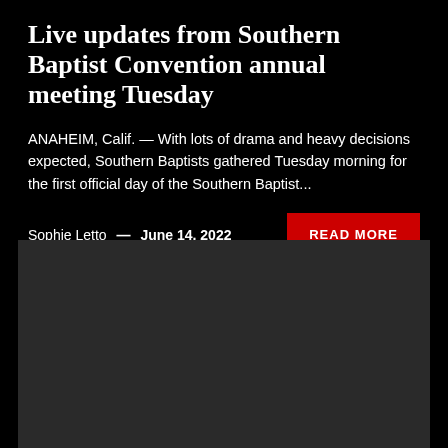Live updates from Southern Baptist Convention annual meeting Tuesday
ANAHEIM, Calif. — With lots of drama and heavy decisions expected, Southern Baptists gathered Tuesday morning for the first official day of the Southern Baptist...
Sophie Letto — June 14, 2022
[Figure (photo): Dark gray image placeholder rectangle occupying the lower portion of the page]